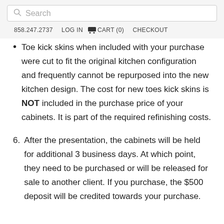Search  858.247.2737  LOG IN  CART (0)  CHECKOUT
Toe kick skins when included with your purchase were cut to fit the original kitchen configuration and frequently cannot be repurposed into the new kitchen design. The cost for new toes kick skins is NOT included in the purchase price of your cabinets. It is part of the required refinishing costs.
6. After the presentation, the cabinets will be held for additional 3 business days. At which point, they need to be purchased or will be released for sale to another client. If you purchase, the $500 deposit will be credited towards your purchase.